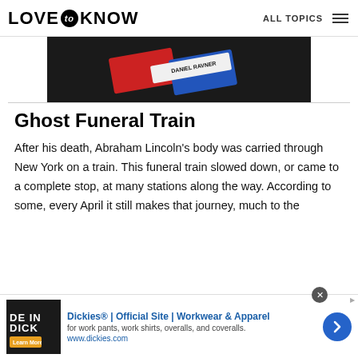LOVE to KNOW | ALL TOPICS
[Figure (photo): Partial view of what appears to be a name badge or card showing 'DANIEL RAVNER' text on a dark background]
Ghost Funeral Train
After his death, Abraham Lincoln's body was carried through New York on a train. This funeral train slowed down, or came to a complete stop, at many stations along the way. According to some, every April it still makes that journey, much to the
[Figure (screenshot): Advertisement banner for Dickies® | Official Site | Workwear & Apparel - for work pants, work shirts, overalls, and coveralls. www.dickies.com]